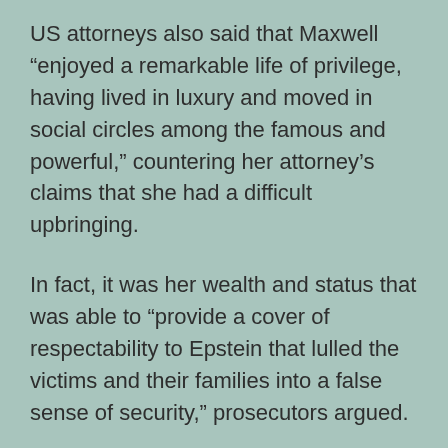US attorneys also said that Maxwell “enjoyed a remarkable life of privilege, having lived in luxury and moved in social circles among the famous and powerful,” countering her attorney’s claims that she had a difficult upbringing.
In fact, it was her wealth and status that was able to “provide a cover of respectability to Epstein that lulled the victims and their families into a false sense of security,” prosecutors argued.